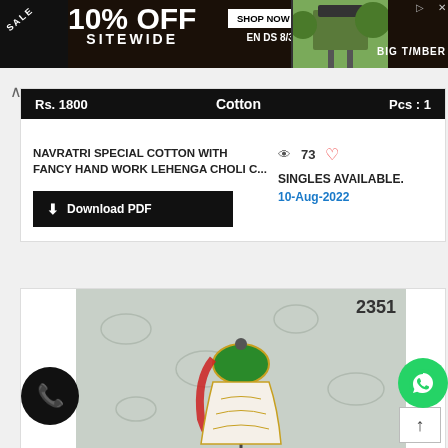[Figure (screenshot): Advertisement banner: SALE 10% OFF SITEWIDE, SHOP NOW ENDS 8/31, BIG TIMBER]
Rs. 1800   Cotton   Pcs : 1
NAVRATRI SPECIAL COTTON WITH FANCY HAND WORK LEHENGA CHOLI C...
73  SINGLES AVAILABLE. 10-Aug-2022
Download PDF
[Figure (photo): Product image of Navratri lehenga choli on a mannequin — green blouse, red and white skirt with gold embroidery, labeled 2351]